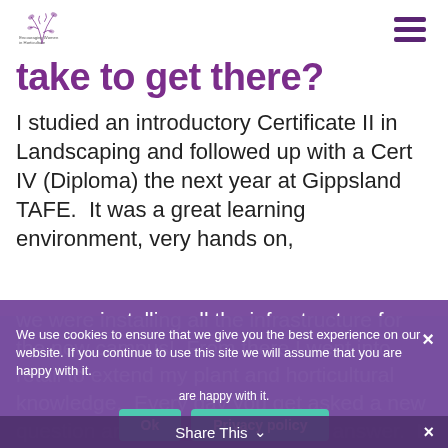[Figure (logo): Encouraging Women in Horticulture logo with decorative plant/leaf illustration]
take to get there?
I studied an introductory Certificate II in Landscaping and followed up with a Cert IV (Diploma) the next year at Gippsland TAFE.  It was a great learning environment, very hands on, we were installing all the infrastructure for the new campus!  From there I went into retail to extend my plant and horticultural knowledge.  Every day you get asked a new question and you need to find the answer.  It taught me a great
We use cookies to ensure that we give you the best experience on our website. If you continue to use this site we will assume that you are happy with it.
Share This